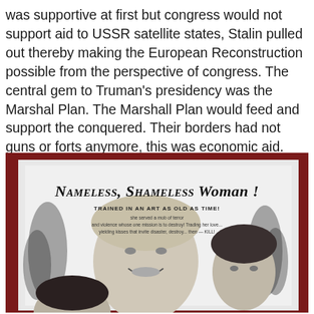was supportive at first but congress would not support aid to USSR satellite states, Stalin pulled out thereby making the European Reconstruction possible from the perspective of congress. The central gem to Truman's presidency was the Marshal Plan. The Marshall Plan would feed and support the conquered. Their borders had not guns or forts anymore, this was economic aid. The US wanted peace in the world.
[Figure (photo): A photograph of a vintage movie poster or advertisement titled 'Nameless, Shameless Woman!' with text 'TRAINED IN AN ART AS OLD AS TIME!' and smaller text below. The poster shows black and white images of women's faces. The poster is displayed against a dark red background.]